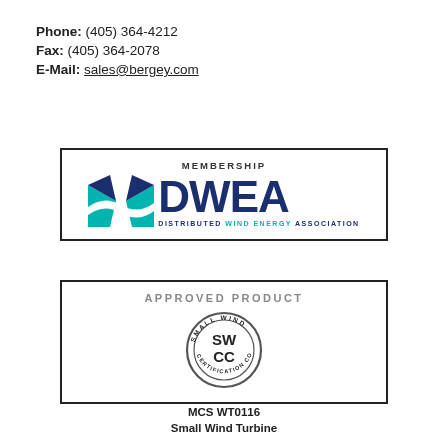Phone: (405) 364-4212
Fax: (405) 364-2078
E-Mail: sales@bergey.com
[Figure (logo): DWEA Distributed Wind Energy Association membership logo with teal windmill icon and dark blue DWEA wordmark inside a bordered box]
[Figure (logo): SWCC Small Wind Certification Council approved product seal inside a bordered box]
MCS WT0116
Small Wind Turbine